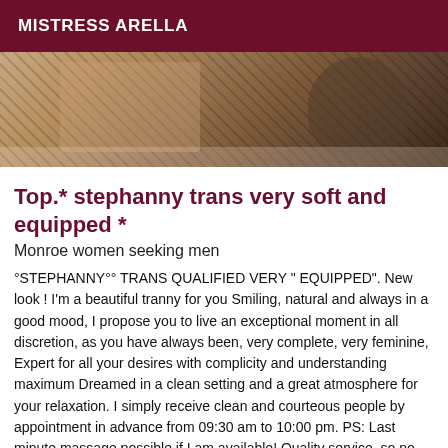MISTRESS ARELLA
[Figure (photo): Photo of a person in fishnet stockings and heels on a couch/sofa, cropped view]
Top.* stephanny trans very soft and equipped *
Monroe women seeking men
°STEPHANNY°° TRANS QUALIFIED VERY "EQUIPPED". New look ! I'm a beautiful tranny for you Smiling, natural and always in a good mood, I propose you to live an exceptional moment in all discretion, as you have always been, very complete, very feminine, Expert for all your desires with complicity and understanding maximum Dreamed in a clean setting and a great atmosphere for your relaxation. I simply receive clean and courteous people by appointment in advance from 09:30 am to 10:00 pm. PS: Last minute massage possible if I am available! Quality service, so no bad